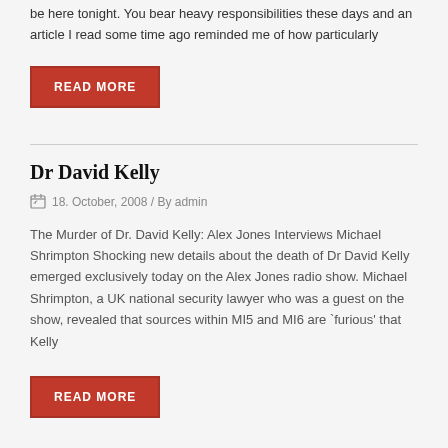be here tonight. You bear heavy responsibilities these days and an article I read some time ago reminded me of how particularly
READ MORE
Dr David Kelly
18. October, 2008 / By admin
The Murder of Dr. David Kelly: Alex Jones Interviews Michael Shrimpton Shocking new details about the death of Dr David Kelly emerged exclusively today on the Alex Jones radio show. Michael Shrimpton, a UK national security lawyer who was a guest on the show, revealed that sources within MI5 and MI6 are `furious' that Kelly
READ MORE
John Smith
18. October, 2008 / By admin